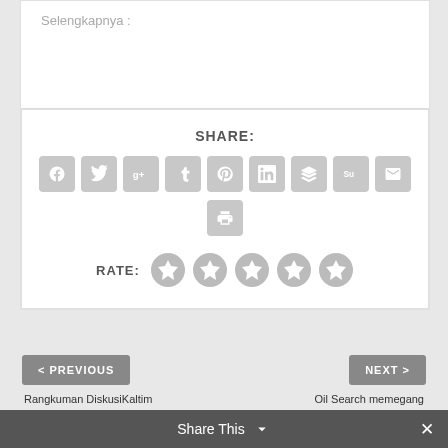Selengkapnya :
SHARE:
[Figure (infographic): Social share buttons: Facebook, Twitter, Google+, Tumblr, Pinterest, LinkedIn, Buffer, StumbleUpon, Email, Print]
RATE:
[Figure (infographic): 5 star rating icons (all gray/unselected)]
< PREVIOUS
NEXT >
Rangkuman DiskusiKaltim
Oil Search memegang
Share This